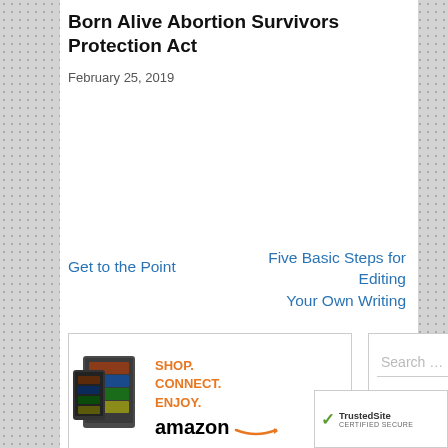Born Alive Abortion Survivors Protection Act
February 25, 2019
Get to the Point
Five Basic Steps for Editing Your Own Writing
[Figure (other): Amazon advertisement showing Kindle devices with text SHOP. CONNECT. ENJOY. and the Amazon logo with smile arrow. Privacy link in corner.]
[Figure (other): Search box with placeholder text 'Search ...' and a dark blue Search button partially visible on right.]
[Figure (other): TrustedSite CERTIFIED SECURE badge with green checkmark in bottom right corner.]